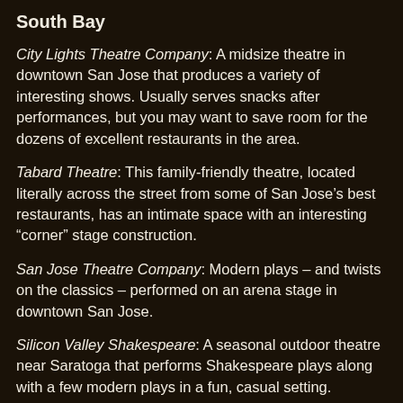South Bay
City Lights Theatre Company: A midsize theatre in downtown San Jose that produces a variety of interesting shows. Usually serves snacks after performances, but you may want to save room for the dozens of excellent restaurants in the area.
Tabard Theatre: This family-friendly theatre, located literally across the street from some of San Jose’s best restaurants, has an intimate space with an interesting “corner” stage construction.
San Jose Theatre Company: Modern plays – and twists on the classics – performed on an arena stage in downtown San Jose.
Silicon Valley Shakespeare: A seasonal outdoor theatre near Saratoga that performs Shakespeare plays along with a few modern plays in a fun, casual setting.
East Bay